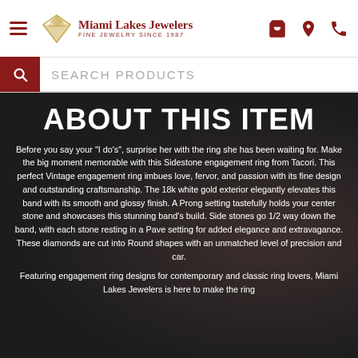[Figure (logo): Miami Lakes Jewelers logo with diamond shape icon and text 'Miami Lakes Jewelers / Fine Jewelry Since 1987']
Miami Lakes Jewelers — Fine Jewelry Since 1987 — navigation bar with hamburger menu, cart, location, and phone icons
SEARCH PRODUCTS
ABOUT THIS ITEM
Before you say your "I do's", surprise her with the ring she has been waiting for. Make the big moment memorable with this Sidestone engagement ring from Tacori. This perfect Vintage engagement ring imbues love, fervor, and passion with its fine design and outstanding craftsmanship. The 18k white gold exterior elegantly elevates this band with its smooth and glossy finish. A Prong setting tastefully holds your center stone and showcases this stunning band's build. Side stones go 1/2 way down the band, with each stone resting in a Pave setting for added elegance and extravagance. These diamonds are cut into Round shapes with an unmatched level of precision and car.
Featuring engagement ring designs for contemporary and classic ring lovers, Miami Lakes Jewelers is here to make the ring